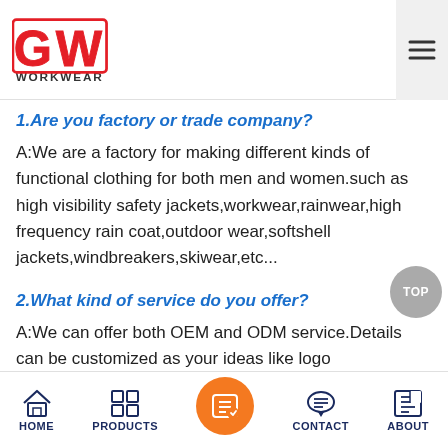GW WORKWEAR
1.Are you factory or trade company?
A:We are a factory for making different kinds of functional clothing for both men and women.such as high visibility safety jackets,workwear,rainwear,high frequency rain coat,outdoor wear,softshell jackets,windbreakers,skiwear,etc...
2.What kind of service do you offer?
A:We can offer both OEM and ODM service.Details can be customized as your ideas like logo printed,packing bag,hang tag etc...
HOME | PRODUCTS | CONTACT | ABOUT